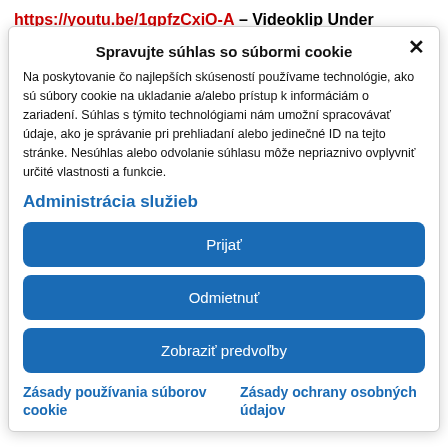https://youtu.be/1gpfzCxiO-A – Videoklip Under
Spravujte súhlas so súbormi cookie
Na poskytovanie čo najlepších skúseností používame technológie, ako sú súbory cookie na ukladanie a/alebo prístup k informáciám o zariadení. Súhlas s týmito technológiami nám umožní spracovávať údaje, ako je správanie pri prehliadaní alebo jedinečné ID na tejto stránke. Nesúhlas alebo odvolanie súhlasu môže nepriaznivo ovplyvniť určité vlastnosti a funkcie.
Administrácia služieb
Prijať
Odmietnuť
Zobraziť predvoľby
Zásady používania súborov cookie
Zásady ochrany osobných údajov